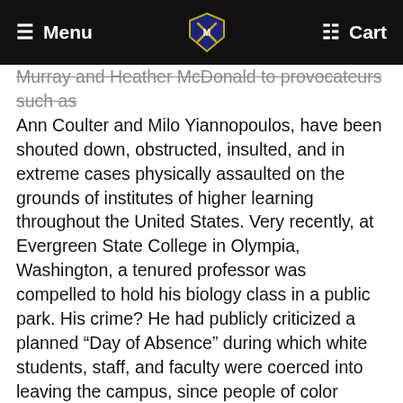Menu  [logo]  Cart
Murray and Heather McDonald to provocateurs such as Ann Coulter and Milo Yiannopoulos, have been shouted down, obstructed, insulted, and in extreme cases physically assaulted on the grounds of institutes of higher learning throughout the United States. Very recently, at Evergreen State College in Olympia, Washington, a tenured professor was compelled to hold his biology class in a public park. His crime? He had publicly criticized a planned “Day of Absence” during which white students, staff, and faculty were coerced into leaving the campus, since people of color claimed they felt “unsafe” at the college. For calling this blatantly racist move by its proper name, the professor was, of course, himself labeled a racist and mobs of angry students shut down his classes, forcing him to lecture in the park.
What is most striking to me in all of this is the obvious lack of anything resembling rational argument. Students are not posing counter-positions, marshaling evidence, drawing logical conclusions, proposing more convincing scenarios,